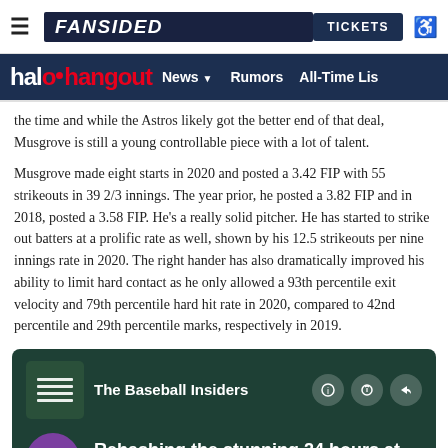≡  FANSIDED  TICKETS  ♿
halo hangout  News ▼  Rumors  All-Time Lis
the time and while the Astros likely got the better end of that deal, Musgrove is still a young controllable piece with a lot of talent.
Musgrove made eight starts in 2020 and posted a 3.42 FIP with 55 strikeouts in 39 2/3 innings. The year prior, he posted a 3.82 FIP and in 2018, posted a 3.58 FIP. He's a really solid pitcher. He has started to strike out batters at a prolific rate as well, shown by his 12.5 strikeouts per nine innings rate in 2020. The right hander has also dramatically improved his ability to limit hard contact as he only allowed a 93th percentile exit velocity and 79th percentile hard hit rate in 2020, compared to 42nd percentile and 29th percentile marks, respectively in 2019.
[Figure (other): Podcast player widget for 'The Baseball Insiders' showing episode 'Rehashing the stunning 24 hours at' with play button and time 00:00 / 37:33]